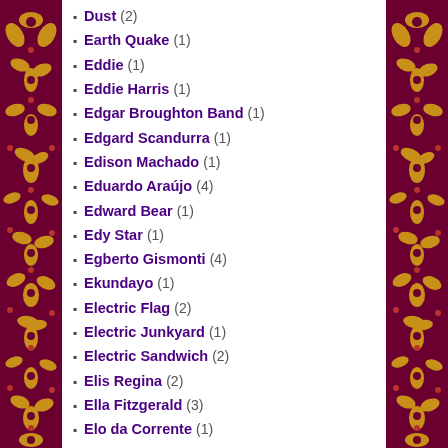Dust (2)
Earth Quake (1)
Eddie (1)
Eddie Harris (1)
Edgar Broughton Band (1)
Edgard Scandurra (1)
Edison Machado (1)
Eduardo Araújo (4)
Edward Bear (1)
Edy Star (1)
Egberto Gismonti (4)
Ekundayo (1)
Electric Flag (2)
Electric Junkyard (1)
Electric Sandwich (2)
Elis Regina (2)
Ella Fitzgerald (3)
Elo da Corrente (1)
Elomar (5)
Elvis Presley (1)
Elza Soares (3)
Emerson, Lake & Palmer (4)